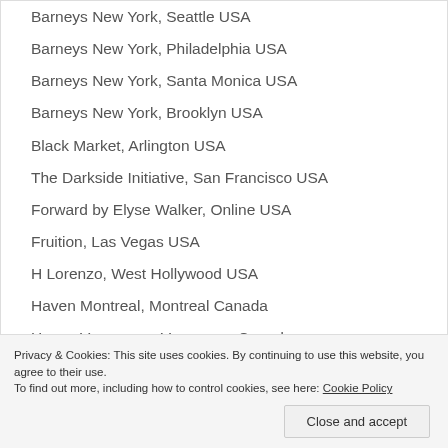Barneys New York, Seattle USA
Barneys New York, Philadelphia USA
Barneys New York, Santa Monica USA
Barneys New York, Brooklyn USA
Black Market, Arlington USA
The Darkside Initiative, San Francisco USA
Forward by Elyse Walker, Online USA
Fruition, Las Vegas USA
H Lorenzo, West Hollywood USA
Haven Montreal, Montreal Canada
Haven Vancouver, Vancouver Canada
Hirshleifers, Manhasset USA
Hotoveli, New York USA
Privacy & Cookies: This site uses cookies. By continuing to use this website, you agree to their use.
To find out more, including how to control cookies, see here: Cookie Policy
Close and accept